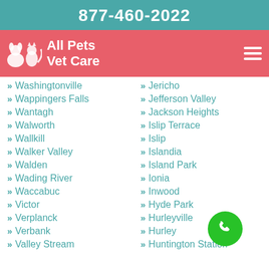877-460-2022
[Figure (logo): All Pets Vet Care logo with white animal silhouettes on pink/red background]
Washingtonville
Wappingers Falls
Wantagh
Walworth
Wallkill
Walker Valley
Walden
Wading River
Waccabuc
Victor
Verplanck
Verbank
Valley Stream
Jericho
Jefferson Valley
Jackson Heights
Islip Terrace
Islip
Islandia
Island Park
Ionia
Inwood
Hyde Park
Hurleyville
Hurley
Huntington Station